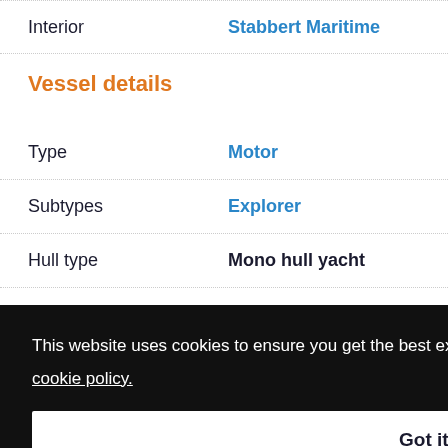| Label | Value |
| --- | --- |
| Interior | Stabbert Maritime |
| Vessel details |  |
| Type | Motor |
| Subtypes | Explorer |
| Hull type | Mono hull yacht |
| Hull configuration | Displacement |
This website uses cookies to ensure you get the best experience on our website. Find more in our cookie policy.
Got it!
Performance & Capabilities